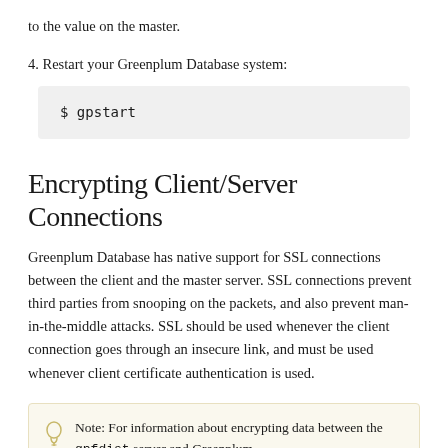to the value on the master.
4. Restart your Greenplum Database system:
$ gpstart
Encrypting Client/Server Connections
Greenplum Database has native support for SSL connections between the client and the master server. SSL connections prevent third parties from snooping on the packets, and also prevent man-in-the-middle attacks. SSL should be used whenever the client connection goes through an insecure link, and must be used whenever client certificate authentication is used.
Note: For information about encrypting data between the gpfdist server and Greenplum